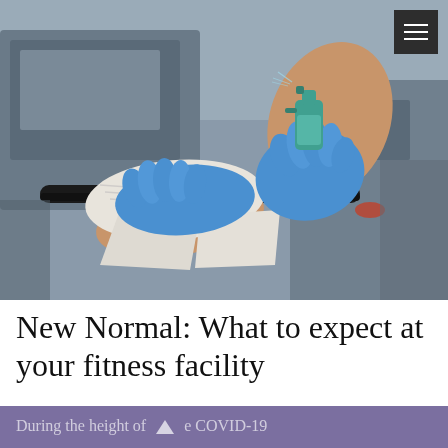[Figure (photo): Person wearing blue latex gloves cleaning gym equipment (treadmill handlebar) with a spray bottle and paper towel. Gym equipment visible in background.]
New Normal: What to expect at your fitness facility
During the height of the COVID-19